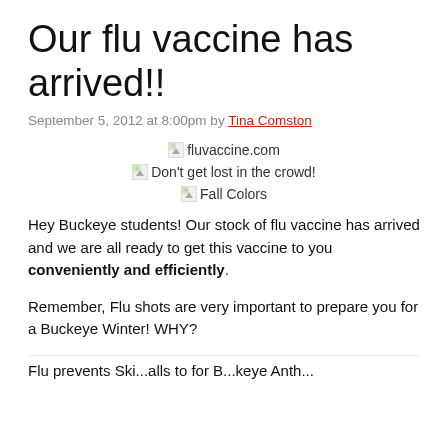Our flu vaccine has arrived!!
September 5, 2012 at 8:00pm by Tina Comston
[Figure (photo): Broken image placeholder with text: fluvaccine.com]
[Figure (photo): Broken image placeholder with text: Don't get lost in the crowd!]
[Figure (photo): Broken image placeholder with text: Fall Colors]
Hey Buckeye students!  Our stock of flu vaccine has arrived and we are all ready to get this vaccine to you conveniently and efficiently.
Remember, Flu shots are very important to prepare you for a Buckeye Winter!  WHY?
Flu prevents Ski...alls to for B...keye Anth...